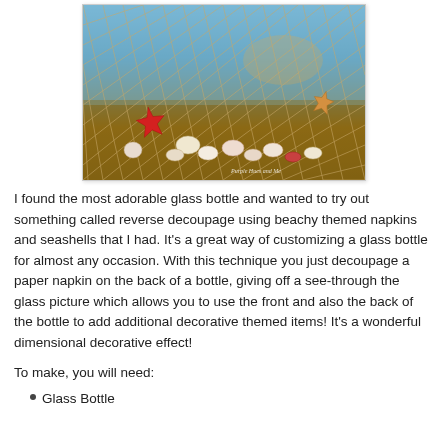[Figure (photo): A glass bottle decorated with seashells and a fishnet, featuring a beach-themed napkin decoupage visible through the glass with blue ocean and beach scenery. Various seashells including a red starfish are arranged around the bottom of the bottle.]
I found the most adorable glass bottle and wanted to try out something called reverse decoupage using beachy themed napkins and seashells that I had.  It's a great way of customizing a glass bottle for almost any occasion.  With this technique you just decoupage a paper napkin on the back of a bottle, giving off a see-through the glass picture which allows you to use the front and also the back of the bottle to add additional decorative themed items!  It's a wonderful dimensional decorative effect!
To make, you will need:
Glass Bottle